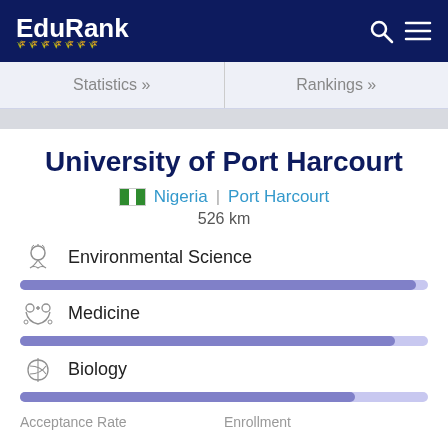EduRank
Statistics »
Rankings »
University of Port Harcourt
Nigeria | Port Harcourt
526 km
Environmental Science
Medicine
Biology
Acceptance Rate
Enrollment